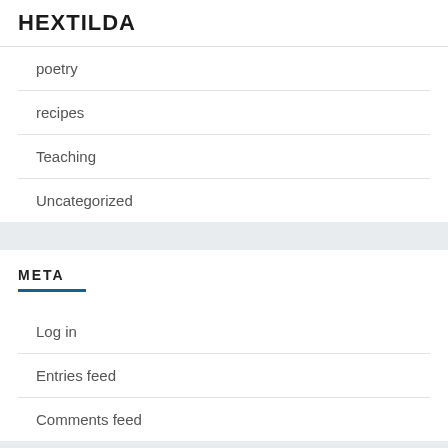HEXTILDA
poetry
recipes
Teaching
Uncategorized
META
Log in
Entries feed
Comments feed